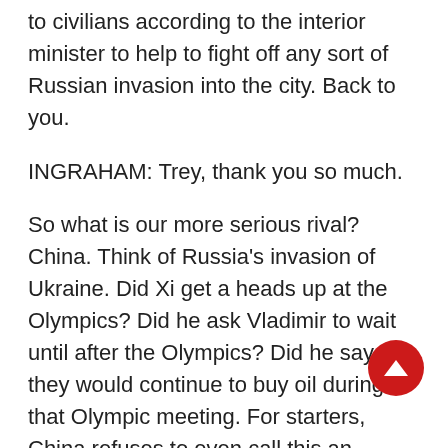to civilians according to the interior minister to help to fight off any sort of Russian invasion into the city. Back to you.
INGRAHAM: Trey, thank you so much.
So what is our more serious rival? China. Think of Russia's invasion of Ukraine. Did Xi get a heads up at the Olympics? Did he ask Vladimir to wait until after the Olympics? Did he say they would continue to buy oil during that Olympic meeting. For starters, China refuses to even call this an invasion. That's pretty telling. And they're blaming the United States for ramping up tensions in the region. China's assistant foreign minister saying "The U.S. has been fueling the flame, fanning up the flame. How do they want to put out the fire?
Joining us is Mike Pillsbury, director of the Center...